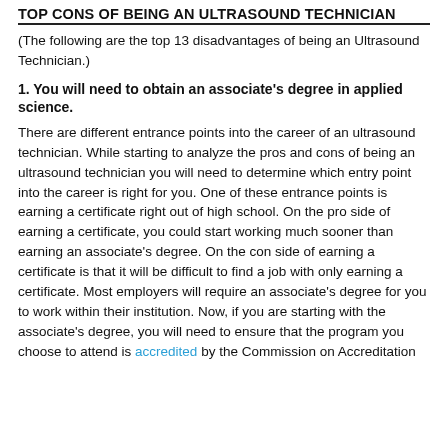TOP CONS OF BEING AN ULTRASOUND TECHNICIAN
(The following are the top 13 disadvantages of being an Ultrasound Technician.)
1. You will need to obtain an associate's degree in applied science.
There are different entrance points into the career of an ultrasound technician. While starting to analyze the pros and cons of being an ultrasound technician you will need to determine which entry point into the career is right for you. One of these entrance points is earning a certificate right out of high school. On the pro side of earning a certificate, you could start working much sooner than earning an associate's degree. On the con side of earning a certificate is that it will be difficult to find a job with only earning a certificate. Most employers will require an associate's degree for you to work within their institution. Now, if you are starting with the associate's degree, you will need to ensure that the program you choose to attend is accredited by the Commission on Accreditation